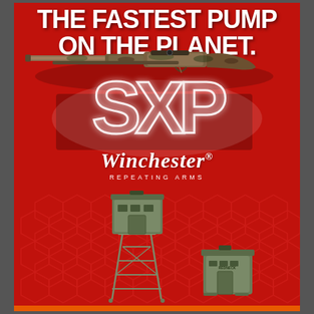THE FASTEST PUMP ON THE PLANET.
[Figure (illustration): Camouflage pump-action shotgun (Winchester SXP) shown horizontally in camo finish]
[Figure (logo): SXP large stylized logo text in outline/glow white letters]
[Figure (logo): Winchester Repeating Arms logo in italic white script with trademark symbol]
[Figure (illustration): Two hunting blinds on red hexagonal patterned background: a tall elevated box blind on metal legs/ladder on the left, and a shorter ground blind on the right]